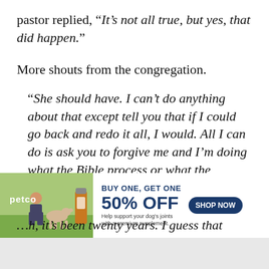pastor replied, “It’s not all true, but yes, that did happen.”
More shouts from the congregation.
“She should have. I can’t do anything about that except tell you that if I could go back and redo it all, I would. All I can do is ask you to forgive me and I’m doing what the Bible process or what the Biblical process is in the church, I’m stepping down, stepping aside, …th, it’s been twenty years. I guess that
[Figure (other): Infolinks advertisement overlay for Petco featuring a woman with a dog and supplement product. Text reads: BUY ONE, GET ONE 50% OFF. Help support your dog’s joints with a premium supplement. SHOP NOW button.]